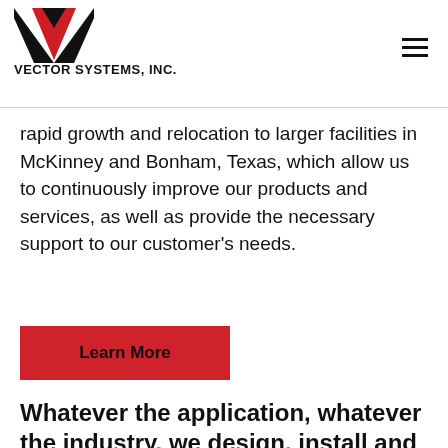[Figure (logo): Vector Systems, Inc. logo — black and red V-shaped chevron mark with company name below]
rapid growth and relocation to larger facilities in McKinney and Bonham, Texas, which allow us to continuously improve our products and services, as well as provide the necessary support to our customer's needs.
Learn More
Whatever the application, whatever the industry, we design, install and deliver control for it.